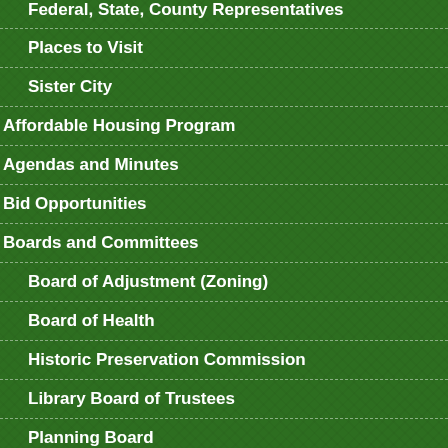Federal, State, County Representatives
Places to Visit
Sister City
Affordable Housing Program
Agendas and Minutes
Bid Opportunities
Boards and Committees
Board of Adjustment (Zoning)
Board of Health
Historic Preservation Commission
Library Board of Trustees
Planning Board
Volunteer Advisory Committees